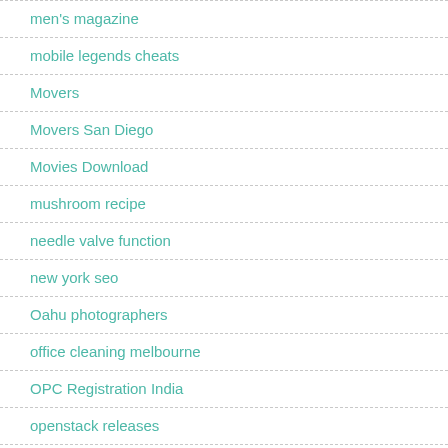men's magazine
mobile legends cheats
Movers
Movers San Diego
Movies Download
mushroom recipe
needle valve function
new york seo
Oahu photographers
office cleaning melbourne
OPC Registration India
openstack releases